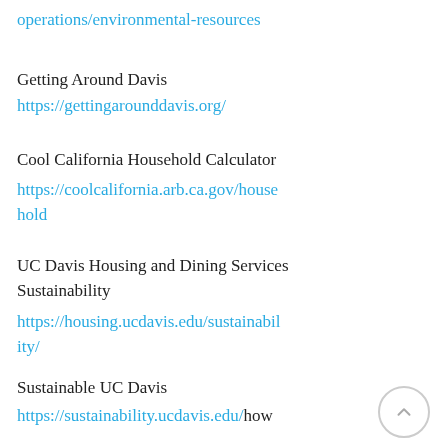operations/environmental-resources
Getting Around Davis
https://gettingarounddavis.org/
Cool California Household Calculator
https://coolcalifornia.arb.ca.gov/household
UC Davis Housing and Dining Services Sustainability
https://housing.ucdavis.edu/sustainability/
Sustainable UC Davis
https://sustainability.ucdavis.edu/how